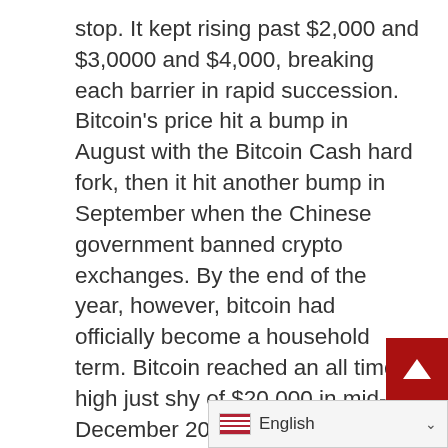stop. It kept rising past $2,000 and $3,0000 and $4,000, breaking each barrier in rapid succession. Bitcoin's price hit a bump in August with the Bitcoin Cash hard fork, then it hit another bump in September when the Chinese government banned crypto exchanges. By the end of the year, however, bitcoin had officially become a household term. Bitcoin reached an all time high just shy of $20,000 in mid-December 2017.
January 2018: Bitcoin Falls While Altcoins Rise
A rising tide lifts all boats, and that's what happened with bitcoin and altcoin prices in 2017. As bitcoin's price rose, altcoin prices r… with it. In January 2018, h… e